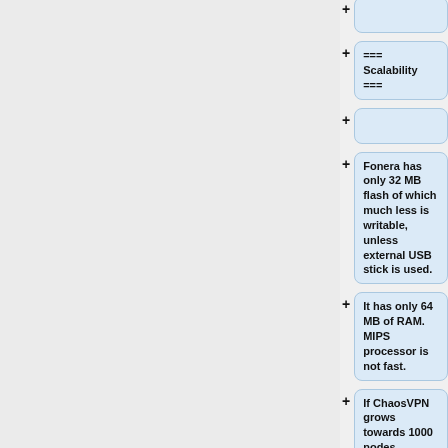+
=== Scalability ===
+
Fonera has only 32 MB flash of which much less is writable, unless external USB stick is used.
It has only 64 MB of RAM. MIPS processor is not fast.
If ChaosVPN grows towards 1000 nodes, perhaps there